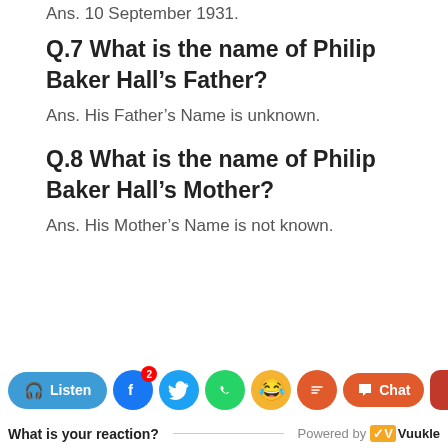Ans. 10 September 1931.
Q.7 What is the name of Philip Baker Hall's Father?
Ans. His Father’s Name is unknown.
Q.8 What is the name of Philip Baker Hall's Mother?
Ans. His Mother’s Name is not known.
What is your reaction? Powered by Vuukle